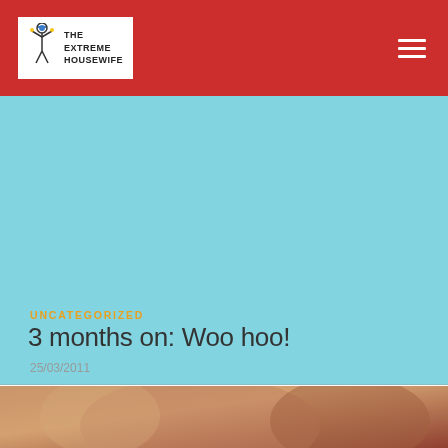THE EXTREME HOUSEWIFE
[Figure (photo): Large light blue area used as hero/banner image placeholder]
UNCATEGORIZED
3 months on: Woo hoo!
25/03/2011
[Figure (photo): Partial bottom image strip with warm brown/skin tones]